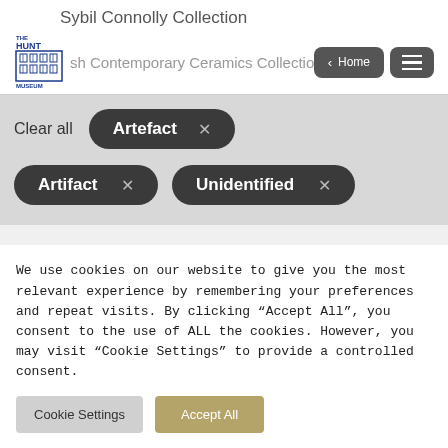Sybil Connolly Collection
Irish Contemporary Ceramics Collection
Clear all
Artefact ×
Artifact ×
Unidentified ×
We use cookies on our website to give you the most relevant experience by remembering your preferences and repeat visits. By clicking "Accept All", you consent to the use of ALL the cookies. However, you may visit "Cookie Settings" to provide a controlled consent.
Cookie Settings
Accept All